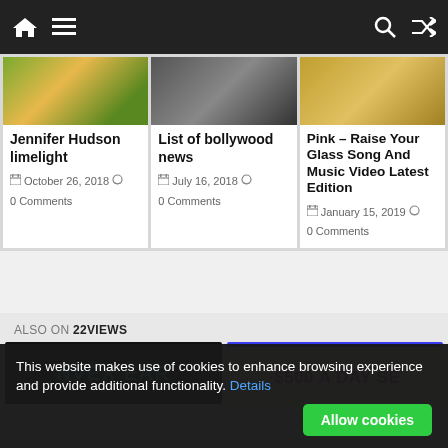Navigation bar with home, menu, search, and shuffle icons
[Figure (photo): Card thumbnail - Jennifer Hudson flowers/nature photo]
Jennifer Hudson limelight
October 26, 2018  0 Comments
[Figure (photo): Card thumbnail - bollywood news photo]
List of bollywood news
July 16, 2018  0 Comments
[Figure (photo): Card thumbnail - Pink Raise Your Glass]
Pink – Raise Your Glass Song And Music Video Latest Edition
January 15, 2019  0 Comments
ALSO ON 22VIEWS
[Figure (screenshot): Preview thumbnail 1 - NVEX EAR dark blue text]
[Figure (screenshot): Preview thumbnail 2 - $500 A DAY SE purple text on yellow]
This website makes use of cookies to enhance browsing experience and provide additional functionality. Details
Allow cookies